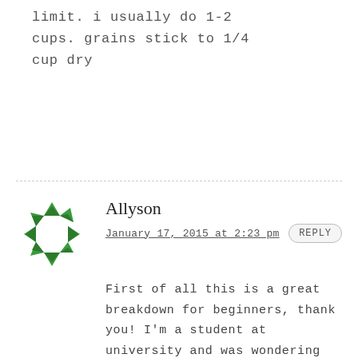limit. i usually do 1-2 cups. grains stick to 1/4 cup dry
[Figure (illustration): Green geometric star/snowflake avatar icon made of triangular shapes]
Allyson
January 17, 2015 at 2:23 pm
REPLY
First of all this is a great breakdown for beginners, thank you! I'm a student at university and was wondering if you wouldn't mind saying about how much this costs? I would love to try meal prepping since my schedule